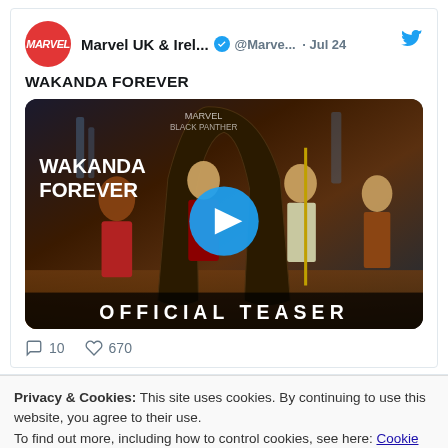[Figure (screenshot): Twitter/social media post by Marvel UK & Ireland account showing a Wakanda Forever official teaser video thumbnail with play button, comment count 10 and like count 670]
Privacy & Cookies: This site uses cookies. By continuing to use this website, you agree to their use. To find out more, including how to control cookies, see here: Cookie Policy
Close and accept
Enter your email address to follow this blog…